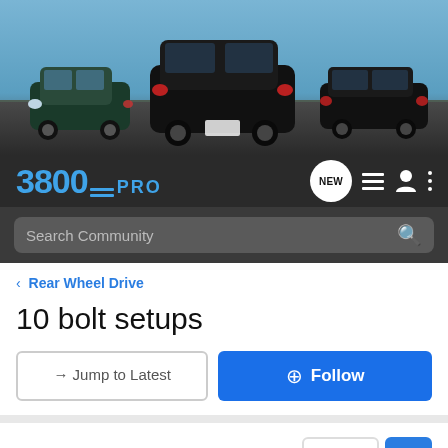[Figure (photo): Banner image showing three dark-colored cars (sedans/coupes) parked on a road with a blue sky background]
[Figure (logo): 3800PRO forum logo in blue text on dark background, with navigation icons including a NEW speech bubble, list icon, user icon, and three-dots menu]
Search Community
< Rear Wheel Drive
10 bolt setups
→ Jump to Latest
+ Follow
1 - 20 of 23 Posts
1 of 2
RallyRed 98 · Registered